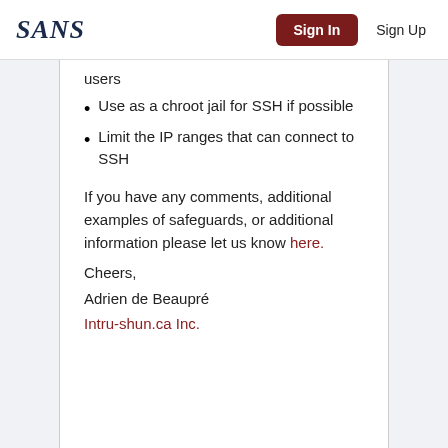SANS  Sign In  Sign Up
users
Use as a chroot jail for SSH if possible
Limit the IP ranges that can connect to SSH
If you have any comments, additional examples of safeguards, or additional information please let us know here.
Cheers,
Adrien de Beaupré
Intru-shun.ca Inc.